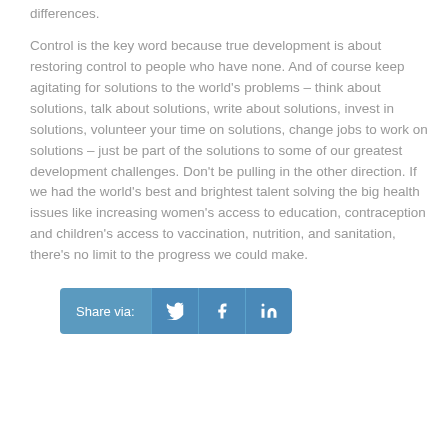differences.
Control is the key word because true development is about restoring control to people who have none. And of course keep agitating for solutions to the world's problems – think about solutions, talk about solutions, write about solutions, invest in solutions, volunteer your time on solutions, change jobs to work on solutions – just be part of the solutions to some of our greatest development challenges. Don't be pulling in the other direction. If we had the world's best and brightest talent solving the big health issues like increasing women's access to education, contraception and children's access to vaccination, nutrition, and sanitation, there's no limit to the progress we could make.
Share via: [Twitter] [Facebook] [LinkedIn]